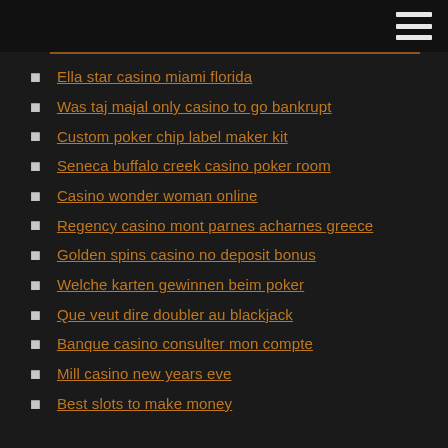Ella star casino miami florida
Was taj majal only casino to go bankrupt
Custom poker chip label maker kit
Seneca buffalo creek casino poker room
Casino wonder woman online
Regency casino mont parnes acharnes greece
Golden spins casino no deposit bonus
Welche karten gewinnen beim poker
Que veut dire doubler au blackjack
Banque casino consulter mon compte
Mill casino new years eve
Best slots to make money